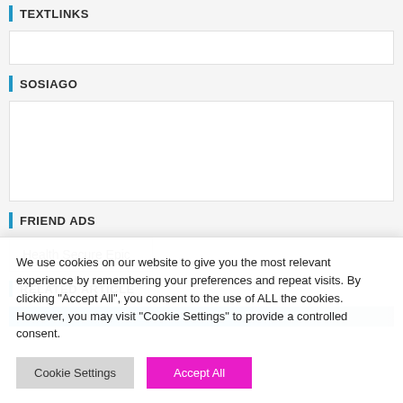TEXTLINKS
SOSIAGO
FRIEND ADS
Health Secure Epic
RELATED ARTICLE
We use cookies on our website to give you the most relevant experience by remembering your preferences and repeat visits. By clicking "Accept All", you consent to the use of ALL the cookies. However, you may visit "Cookie Settings" to provide a controlled consent.
Cookie Settings
Accept All